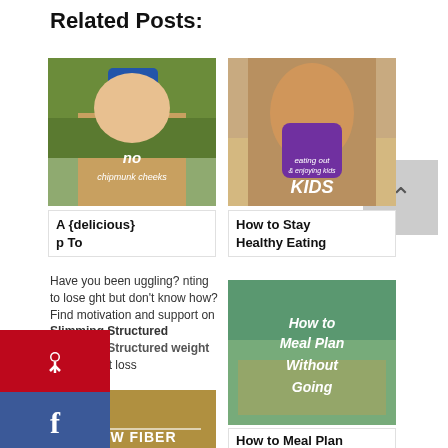Related Posts:
[Figure (photo): Baby in blue shirt in high chair with text 'no chipmunk cheeks']
A {delicious} p To
[Figure (photo): Toddler in orange shirt holding purple cup with text 'eating out & enjoying kids KIDS']
How to Stay Healthy Eating
Have you been uggling? nting to lose ght but don't know how? Find motivation and support on Slimming Structured weight loss
[Figure (photo): How to Meal Plan Without Going - colorful meal plan image]
How to Meal Plan Without Going
[Figure (photo): HOW FIBER - food image at bottom left]
[Figure (infographic): Social sharing sidebar with Pinterest, Facebook, and Twitter buttons]